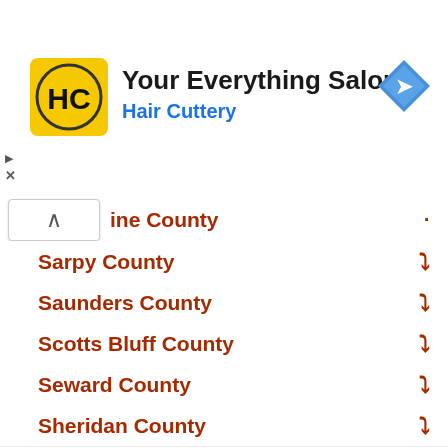[Figure (logo): Hair Cuttery advertisement banner with HC logo, text 'Your Everything Salon' and 'Hair Cuttery', and a navigation arrow icon]
ine County
Sarpy County
Saunders County
Scotts Bluff County
Seward County
Sheridan County
Sherman County
Sioux County
Stanton County
Thayer County